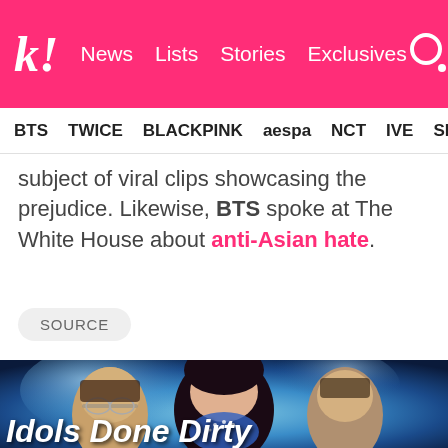k! News Lists Stories Exclusives
BTS TWICE BLACKPINK aespa NCT IVE SHINE
subject of viral clips showcasing the prejudice. Likewise, BTS spoke at The White House about anti-Asian hate.
SOURCE
[Figure (photo): Promotional card image showing three K-pop idols against a blue smoky background with title text 'Idols Done Dirty']